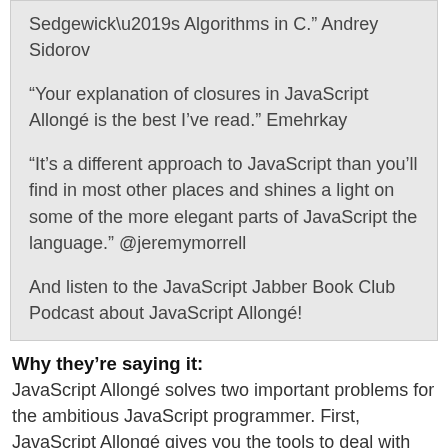Sedgewick’s Algorithms in C.” Andrey Sidorov
“Your explanation of closures in JavaScript Allongé is the best I’ve read.” Emehrkay
“It’s a different approach to JavaScript than you’ll find in most other places and shines a light on some of the more elegant parts of JavaScript the language.” @jeremymorrell
And listen to the JavaScript Jabber Book Club Podcast about JavaScript Allongé!
Why they’re saying it:
JavaScript Allongé solves two important problems for the ambitious JavaScript programmer. First, JavaScript Allongé gives you the tools to deal with JavaScript bugs, hitches, edge cases, and other potential pitfalls.
There are plenty of good directions for how to write